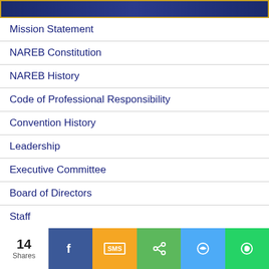[Figure (illustration): Dark blue banner image with gold border at top of page]
Mission Statement
NAREB Constitution
NAREB History
Code of Professional Responsibility
Convention History
Leadership
Executive Committee
Board of Directors
Staff
[Figure (infographic): Social share bar showing 14 Shares with Facebook, SMS, share, Messenger, and WhatsApp buttons]